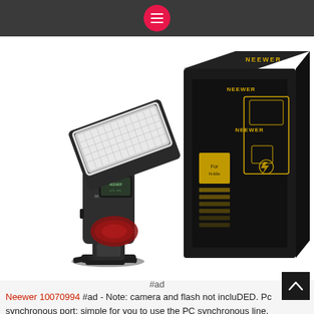[Figure (photo): Neewer camera flash speedlite unit on the left next to its black and gold retail packaging box on the right. The flash unit is black with a tilted head and a red translucent reflector. The box has gold line-art illustration of the flash and NEEWER branding.]
#ad
Neewer 10070994 #ad - Note: camera and flash not incluDED. Pc synchronous port: simple for you to use the PC synchronous line. Vertical rotation angle:-7 to 90 degrees Horizontal